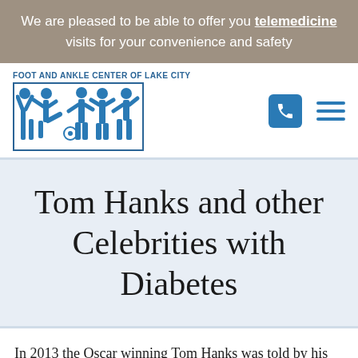We are pleased to be able to offer you telemedicine visits for your convenience and safety
[Figure (logo): Foot and Ankle Center of Lake City logo with blue silhouettes of people and a soccer ball]
Tom Hanks and other Celebrities with Diabetes
In 2013 the Oscar winning Tom Hanks was told by his